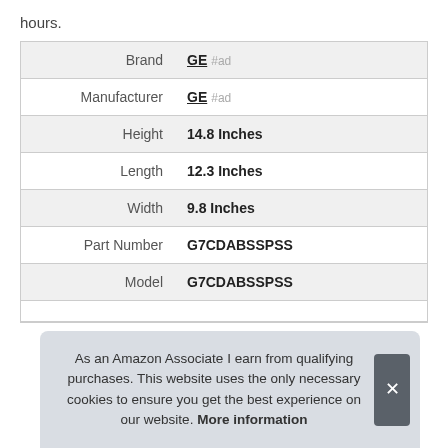hours.
| Attribute | Value |
| --- | --- |
| Brand | GE #ad |
| Manufacturer | GE #ad |
| Height | 14.8 Inches |
| Length | 12.3 Inches |
| Width | 9.8 Inches |
| Part Number | G7CDABSSPSS |
| Model | G7CDABSSPSS |
As an Amazon Associate I earn from qualifying purchases. This website uses the only necessary cookies to ensure you get the best experience on our website. More information